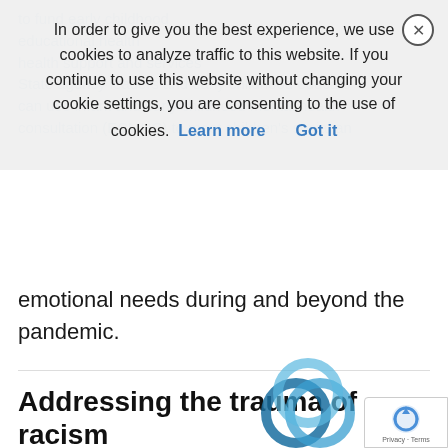to fund early childhood educational health health support and services State agency leaders and early childhood educators can use infant and early childhood mental health consultation (ECMHC) to meet children's social and emotional needs during and beyond the pandemic.
[Figure (other): Cookie consent overlay with message: In order to give you the best experience, we use cookies to analyze traffic to this website. If you continue to use this website without changing your cookie settings, you are consenting to the use of cookies. Learn more | Got it. Close button (X) in top right corner.]
Addressing the trauma of racism
Authors : Elaine Mulligan
This post from the National Center for Safe Supportive
[Figure (logo): Circular interlocking rings logo in blue tones, partially visible at bottom right]